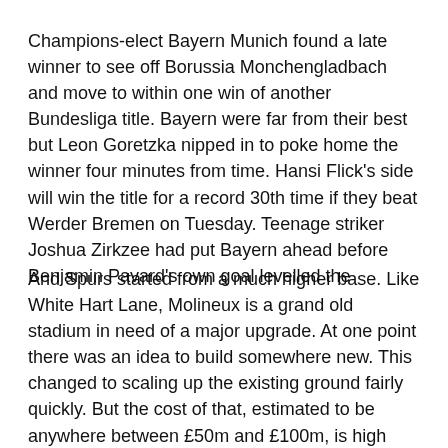Champions-elect Bayern Munich found a late winner to see off Borussia Monchengladbach and move to within one win of another Bundesliga title. Bayern were far from their best but Leon Goretzka nipped in to poke home the winner four minutes from time. Hansi Flick's side will win the title for a record 30th time if they beat Werder Bremen on Tuesday. Teenage striker Joshua Zirkzee had put Bayern ahead before Benjamin Pavard's own goal levelled the
And Spurs started from a much higher base. Like White Hart Lane, Molineux is a grand old stadium in need of a major upgrade. At one point there was an idea to build somewhere new. This changed to scaling up the existing ground fairly quickly. But the cost of that, estimated to be anywhere between £50m and £100m, is high and the payback